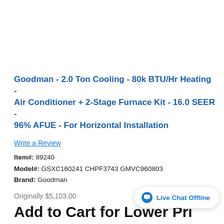Goodman - 2.0 Ton Cooling - 80k BTU/Hr Heating - Air Conditioner + 2-Stage Furnace Kit - 16.0 SEER - 96% AFUE - For Horizontal Installation
Write a Review
Item#: 89240
Model#: GSXC160241 CHPF3743 GMVC960803
Brand: Goodman
Originally $5,103.00
Add to Cart for Lower Pri...
Factory-Direct
Live Chat Offline